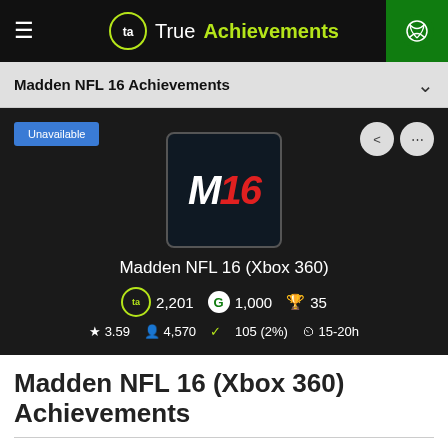TrueAchievements
Madden NFL 16 Achievements
[Figure (screenshot): Madden NFL 16 game card with icon showing M16, title 'Madden NFL 16 (Xbox 360)', TA score 2,201, Gamerscore 1,000, 35 achievements, rating 3.59, 4,570 players, 105 (2%) completions, 15-20h time estimate]
Madden NFL 16 (Xbox 360) Achievements
Full list of all 35 Madden NFL 16 achievements worth 1,000 gamerscore. It takes around 15-20 hours to unlock all of the achievements on Xbox 360.